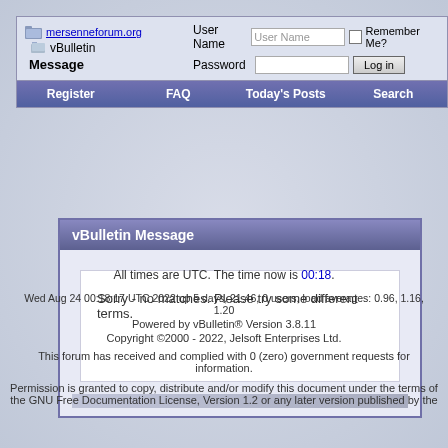[Figure (screenshot): vBulletin forum header with logo, login fields, and navigation bar]
vBulletin Message
Sorry - no matches. Please try some different terms.
All times are UTC. The time now is 00:18.
Wed Aug 24 00:18:17 UTC 2022 up 5 days, 21:46, 0 users, load averages: 0.96, 1.16, 1.20
Powered by vBulletin® Version 3.8.11
Copyright ©2000 - 2022, Jelsoft Enterprises Ltd.
This forum has received and complied with 0 (zero) government requests for information.
Permission is granted to copy, distribute and/or modify this document under the terms of the GNU Free Documentation License, Version 1.2 or any later version published by the